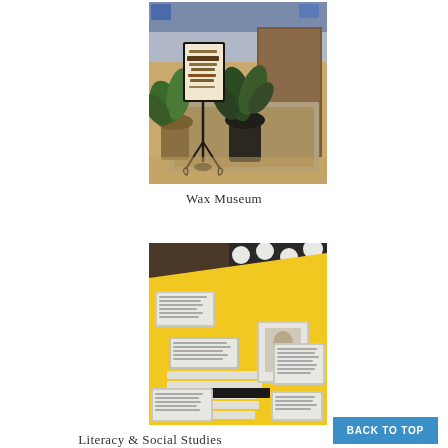[Figure (photo): Photo of a Wax Museum display area with a welcome sign on an ornate easel, potted plants, and a brown partition/divider in a gymnasium.]
Wax Museum
[Figure (photo): Photo of a yellow poster board on a table with printed text cards, a black timeline bar, and a framed photograph, arranged as a student project display. Black and white polka dot fabric visible in the background.]
Literacy & Social Studies